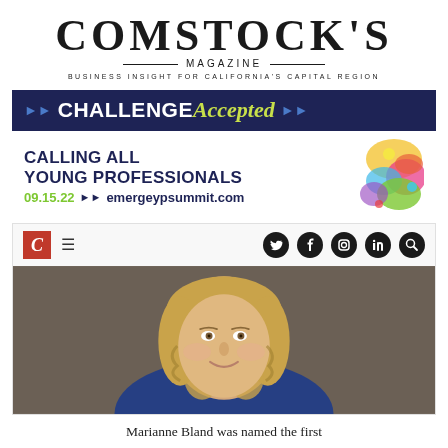COMSTOCK'S MAGAZINE
BUSINESS INSIGHT FOR CALIFORNIA'S CAPITAL REGION
[Figure (infographic): Challenge Accepted event ad banner with dark blue header reading CHALLENGE Accepted and white section reading CALLING ALL YOUNG PROFESSIONALS 09.15.22 emergeypsummit.com with colorful paint splash graphic on right]
[Figure (screenshot): Comstock's Magazine website navigation bar with red C logo, hamburger menu, and social media icons (Twitter, Facebook, Instagram, LinkedIn, Search)]
[Figure (photo): Professional headshot of Marianne Bland, a woman with curly blonde hair, smiling, wearing a blue top, photographed against a dark background]
Marianne Bland was named the first